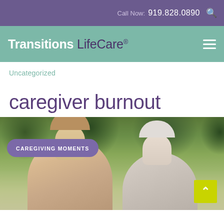Call Now: 919.828.0890
Transitions LifeCare®
Uncategorized
caregiver burnout
[Figure (photo): A younger woman and an elderly woman outdoors in a park setting with blurred greenery in the background. A purple pill-shaped tag reads 'CAREGIVING MOMENTS'. A yellow-green back-to-top button with a caret chevron appears in the bottom-right corner.]